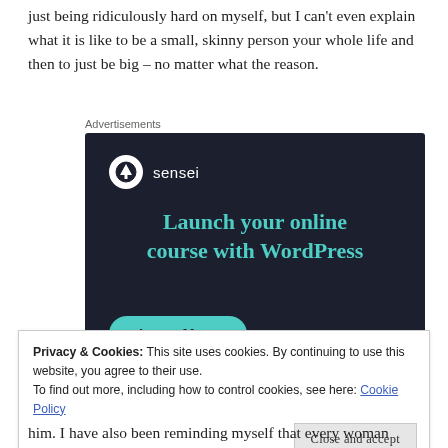just being ridiculously hard on myself, but I can't even explain what it is like to be a small, skinny person your whole life and then to just be big – no matter what the reason.
[Figure (other): Sensei advertisement banner with dark navy background, Sensei logo (tree icon in white circle), headline text 'Launch your online course with WordPress' in teal, and a teal 'Learn More' button.]
Privacy & Cookies: This site uses cookies. By continuing to use this website, you agree to their use.
To find out more, including how to control cookies, see here: Cookie Policy
him. I have also been reminding myself that every woman